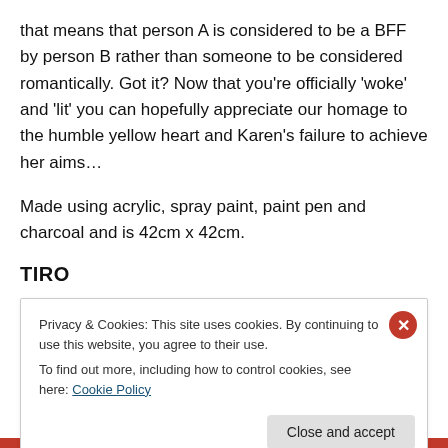that means that person A is considered to be a BFF by person B rather than someone to be considered romantically. Got it? Now that you're officially 'woke' and 'lit' you can hopefully appreciate our homage to the humble yellow heart and Karen's failure to achieve her aims…
Made using acrylic, spray paint, paint pen and charcoal and is 42cm x 42cm.
TIRO
Privacy & Cookies: This site uses cookies. By continuing to use this website, you agree to their use.
To find out more, including how to control cookies, see here: Cookie Policy